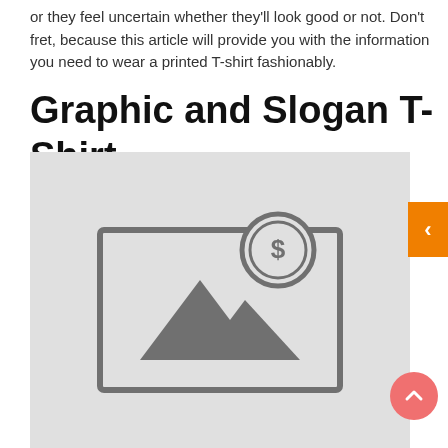or they feel uncertain whether they'll look good or not. Don't fret, because this article will provide you with the information you need to wear a printed T-shirt fashionably.
Graphic and Slogan T-Shirt
[Figure (illustration): Placeholder image with a landscape icon (mountains) and a dollar coin symbol overlaid, on a light gray background.]